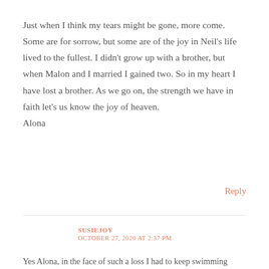Just when I think my tears might be gone, more come. Some are for sorrow, but some are of the joy in Neil's life lived to the fullest. I didn't grow up with a brother, but when Malon and I married I gained two. So in my heart I have lost a brother. As we go on, the strength we have in faith let's us know the joy of heaven.
Alona
Reply
SUSIEJOY
OCTOBER 27, 2020 AT 2:37 PM
Yes Alona, in the face of such a loss I had to keep swimming